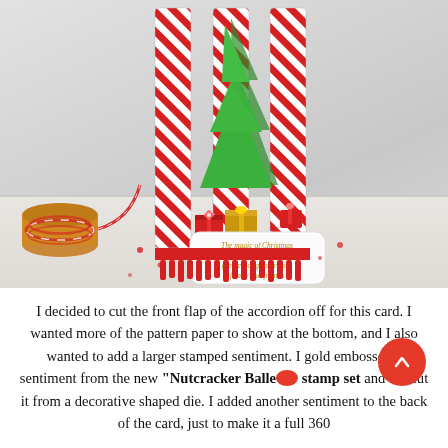[Figure (photo): A Christmas craft card featuring a 3D accordion-style card with red and white candy-cane striped panels, green layered paper Christmas trees in the center, small gift boxes with bows, a sentiment label reading 'The magic of Christmas never ends and its greatest of gifts are our family and friends', and a spool of red and white baker's twine in the foreground on the left.]
I decided to cut the front flap of the accordion off for this card. I wanted more of the pattern paper to show at the bottom, and I also wanted to add a larger stamped sentiment. I gold embossed a sentiment from the new "Nutcracker Ballet" stamp set and die cut it from a decorative shaped die. I added another sentiment to the back of the card, just to make it a full 360